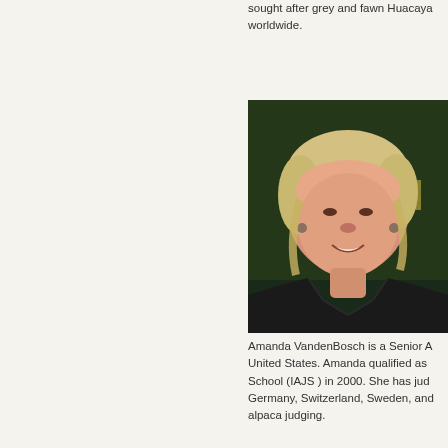sought after grey and fawn Huacaya worldwide.
[Figure (photo): Portrait photo of Amanda VandenBosch, a woman with short blonde hair wearing a black jacket, smiling, against a dark background.]
Amanda VandenBosch is a Senior A United States. Amanda qualified as School (IAJS ) in 2000. She has jud Germany, Switzerland, Sweden, and alpaca judging.